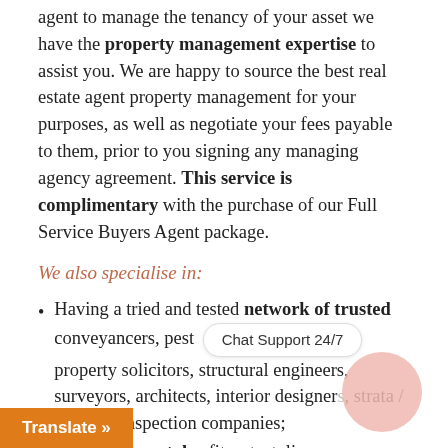agent to manage the tenancy of your asset we have the property management expertise to assist you. We are happy to source the best real estate agent property management for your purposes, as well as negotiate your fees payable to them, prior to you signing any managing agency agreement. This service is complimentary with the purchase of our Full Service Buyers Agent package.
We also specialise in:
Having a tried and tested network of trusted conveyancers, pest  [Chat Support 24/7]  property solicitors, structural engineers, surveyors, architects, interior designers, strata / building inspection companies;
property rentals : fit-out, styling,
[Figure (other): Orange 'Translate »' button overlay at bottom left, and a pink circle decoration at bottom right]